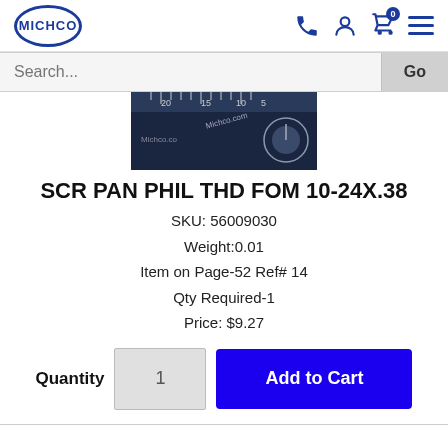MICHCO logo and navigation icons
Search...
[Figure (photo): Close-up photo of a measurement ruler/dial with Michco.com branding]
SCR PAN PHIL THD FOM 10-24X.38
SKU: 56009030
Weight:0.01
Item on Page-52 Ref# 14
Qty Required-1
Price: $9.27
Quantity  1  Add to Cart